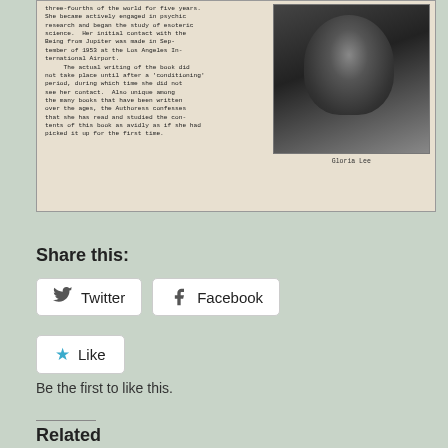[Figure (photo): Scanned document excerpt showing typewritten text about an authoress and a black-and-white photo of a person labeled 'Gloria Lee'. The text discusses psychic research, esoteric science, contact with a Being from Jupiter at Los Angeles International Airport in 1953, and a book called 'Why We Are Here!' reviewed by AFSCA WORLD REPORT.]
Share this:
Twitter
Facebook
Like
Be the first to like this.
Related